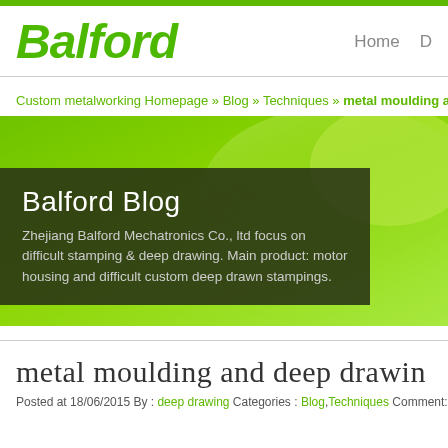[Figure (logo): Balford company logo in green italic bold text]
Home  D
Custom metalworking Homepage » Blog » Techniques » metal moulding and
[Figure (illustration): Green gradient banner with dark overlay showing Balford Blog title and company description]
metal moulding and deep drawin
Posted at 18/06/2015 By : deep drawing Categories : Blog, Techniques Comment: Co